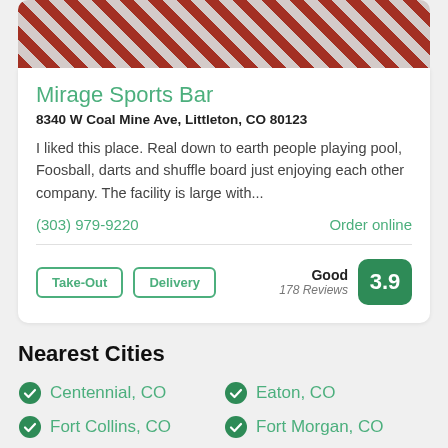[Figure (photo): Food photo showing checkered red and white paper with food items in a basket]
Mirage Sports Bar
8340 W Coal Mine Ave, Littleton, CO 80123
I liked this place. Real down to earth people playing pool, Foosball, darts and shuffle board just enjoying each other company. The facility is large with...
(303) 979-9220
Order online
Take-Out
Delivery
Good
178 Reviews
3.9
Nearest Cities
Centennial, CO
Eaton, CO
Fort Collins, CO
Fort Morgan, CO